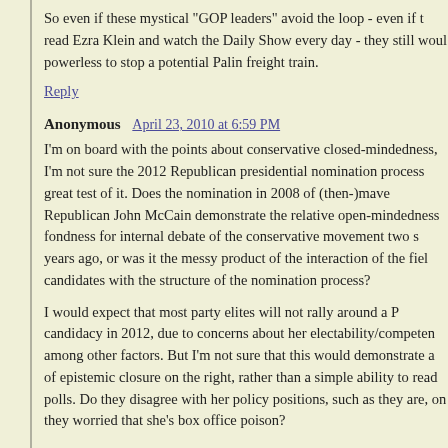So even if these mystical "GOP leaders" avoid the loop - even if they read Ezra Klein and watch the Daily Show every day - they still would be powerless to stop a potential Palin freight train.
Reply
Anonymous  April 23, 2010 at 6:59 PM
I'm on board with the points about conservative closed-mindedness, but I'm not sure the 2012 Republican presidential nomination process is a great test of it. Does the nomination in 2008 of (then-)maverick Republican John McCain demonstrate the relative open-mindedness and fondness for internal debate of the conservative movement two short years ago, or was it the messy product of the interaction of the field of candidates with the structure of the nomination process?
I would expect that most party elites will not rally around a Palin candidacy in 2012, due to concerns about her electability/competence among other factors. But I'm not sure that this would demonstrate a lack of epistemic closure on the right, rather than a simple ability to read polls. Do they disagree with her policy positions, such as they are, or are they worried that she's box office poison?